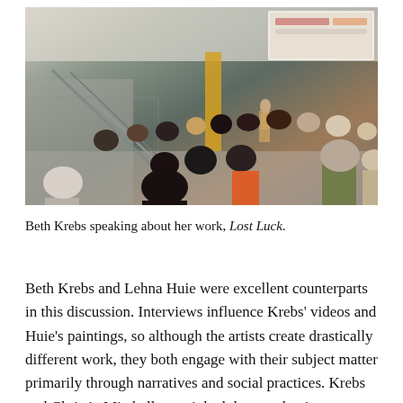[Figure (photo): Indoor event photo showing an audience seated and viewed from behind, watching a presenter at a podium at the front of the room. The room has stairs with metal railings on the left, modern architecture, and a projection screen at the top right. One person sits in the center foreground wearing an orange jacket.]
Beth Krebs speaking about her work, Lost Luck.
Beth Krebs and Lehna Huie were excellent counterparts in this discussion. Interviews influence Krebs' videos and Huie's paintings, so although the artists create drastically different work, they both engage with their subject matter primarily through narratives and social practices. Krebs and Christie Mitchell even joked that conducting interviews